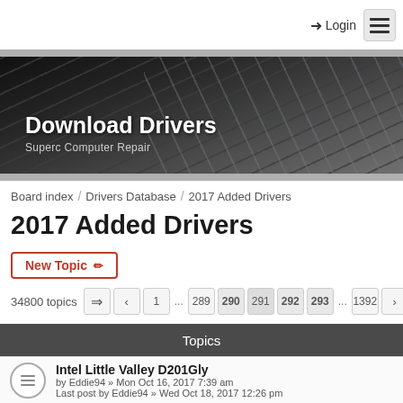Login
[Figure (screenshot): Website banner with dark metallic grid/building facade background showing 'Download Drivers' title and 'Superc Computer Repair' subtitle]
Board index / Drivers Database / 2017 Added Drivers
2017 Added Drivers
New Topic
34800 topics  1 ... 289 290 291 292 293 ... 1392
Topics
Intel Little Valley D201Gly
by Eddie94 » Mon Oct 16, 2017 7:39 am
Last post by Eddie94 » Wed Oct 18, 2017 12:26 pm